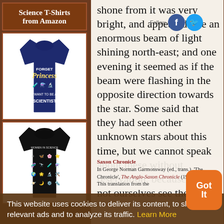[Figure (screenshot): Left sidebar with 'Science T-Shirts from Amazon' header and two t-shirt product images]
shone from it was very bright, and appeared like an enormous beam of light shining north-east; and one evening it seemed as if the beam were flashing in the opposite direction towards the star. Some said that they had seen other unknown stars about this time, but we cannot speak about these without reservation, because we did not ourselves see them.
[Figure (screenshot): Social media Follow button with Facebook and Twitter icons overlaid on main text]
This website uses cookies to deliver its content, to show relevant ads and to analyze its traffic. Learn More
Saxon Chronicle (1953), 240. This translation from the
In George Norman Garmonsway (ed., trans.), 'The Chronicle', The Anglo-Saxon Chronicle (1953), 240.